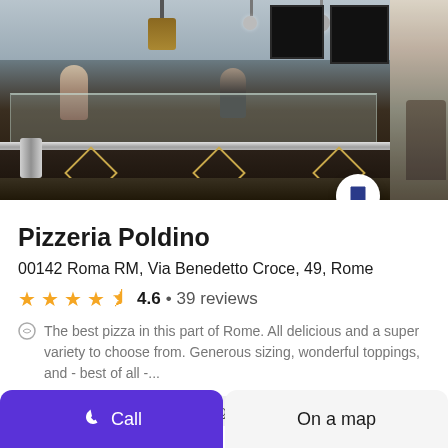[Figure (photo): Interior of Pizzeria Poldino showing a food display counter with glass case, dark wood panels with diamond decorations, staff behind counter, and a chalkboard menu on the wall. A second partial photo is visible on the right edge.]
Pizzeria Poldino
00142 Roma RM, Via Benedetto Croce, 49, Rome
4.6 • 39 reviews
The best pizza in this part of Rome. All delicious and a super variety to choose from. Generous sizing, wonderful toppings, and - best of all -...
Restaurants
Pizza dining
Call
On a map